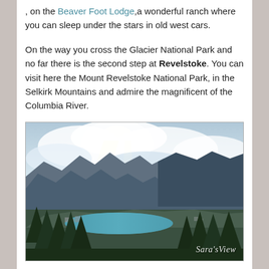, on the Beaver Foot Lodge,a wonderful ranch where you can sleep under the stars in old west cars.
On the way you cross the Glacier National Park and no far there is the second step at Revelstoke. You can visit here the Mount Revelstoke National Park, in the Selkirk Mountains and admire the magnificent of the Columbia River.
[Figure (photo): Panoramic landscape photo of Revelstoke: a valley with a turquoise river/lake surrounded by dark forested mountains under a dramatic cloudy sky with rays of sunlight breaking through. Evergreen trees in foreground, town visible in middle distance. Watermark 'Sara'sView' in bottom right corner.]